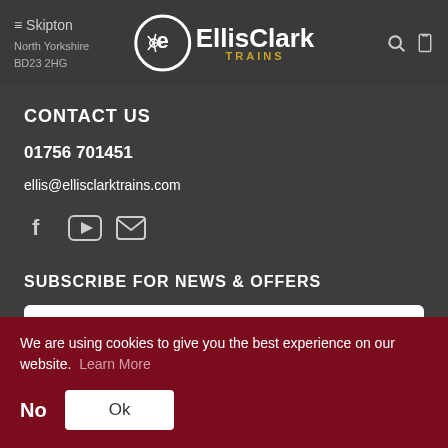Skipton
North Yorkshire
BD23 2HG | EllisClark TRAINS
CONTACT US
01756 701451
ellis@ellisclarktrains.com
[Figure (infographic): Social media icons: Facebook, YouTube, Email]
SUBSCRIBE FOR NEWS & OFFERS
First Name
We are using cookies to give you the best experience on our website. Learn More
No
Ok
SIGN UP | GET TOKENS